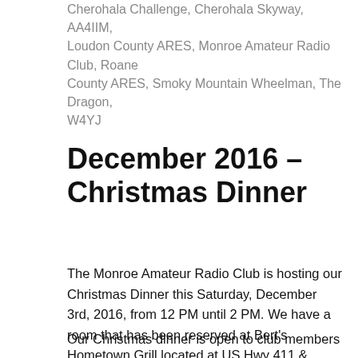Cherohala Challenge, Cherohala Skyway, AA4IIM, Loudon County ARES, Monroe Amateur Radio Club, Roane County ARES, Smoky Mountain Wheelman, The Dragon, W4YJ
December 2016 – Christmas Dinner
The Monroe Amateur Radio Club is hosting our Christmas Dinner this Saturday, December 3rd, 2016, from 12 PM until 2 PM. We have a room that has been reserved at Bert's Hometown Grill located at US Hwy 411 & Tellico St., Madisonville, TN 37354.
Our Christmas dinner is open to club members